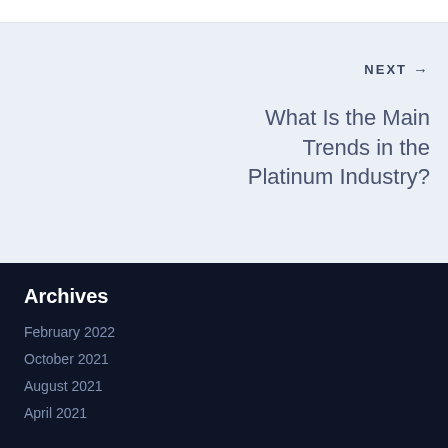NEXT →
What Is the Main Trends in the Platinum Industry?
Archives
February 2022
October 2021
August 2021
April 2021